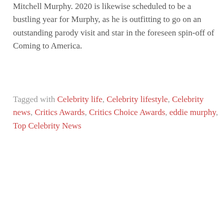Mitchell Murphy. 2020 is likewise scheduled to be a bustling year for Murphy, as he is outfitting to go on an outstanding parody visit and star in the foreseen spin-off of Coming to America.
Tagged with Celebrity life, Celebrity lifestyle, Celebrity news, Critics Awards, Critics Choice Awards, eddie murphy, Top Celebrity News